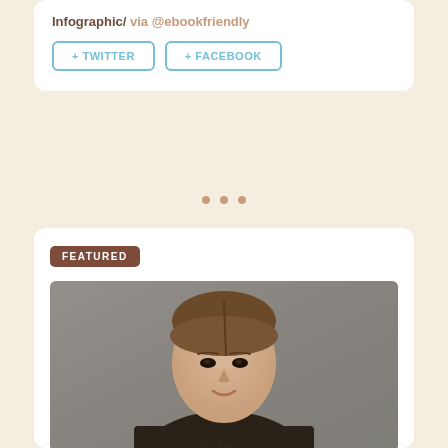Infographic/ via @ebookfriendly
+ TWITTER
+ FACEBOOK
[Figure (infographic): Three pagination dots in brown/tan color, indicating a carousel or slideshow indicator]
FEATURED
[Figure (photo): A young woman with brown hair pulled back, wearing a dark brown/black long-sleeve fitted top, photographed against a grey concrete wall background. Fashion/apparel photo.]